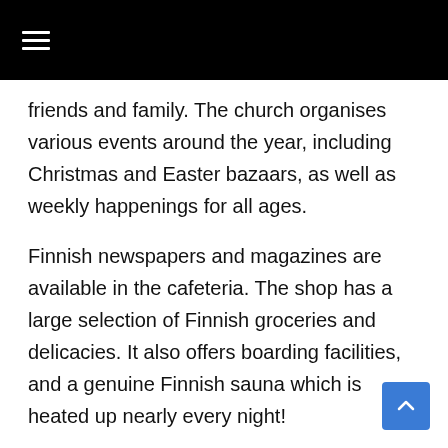≡
friends and family. The church organises various events around the year, including Christmas and Easter bazaars, as well as weekly happenings for all ages.
Finnish newspapers and magazines are available in the cafeteria. The shop has a large selection of Finnish groceries and delicacies. It also offers boarding facilities, and a genuine Finnish sauna which is heated up nearly every night!
[button link="http://lontoo.merimieskirkko.fi/?s=english" size="small" icon="fa-globe" side="left" target="blank" color="b70900"